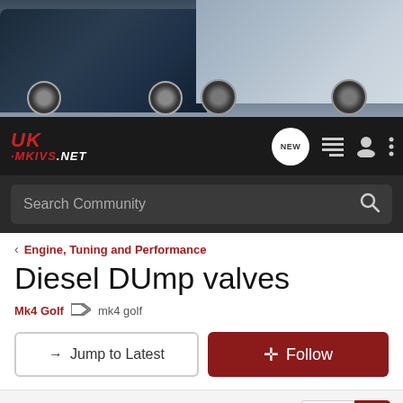[Figure (photo): Two Volkswagen Mk4 Golf cars parked side by side — a dark navy/black one on the left and a silver one on the right — in a driveway or street setting.]
UK-MKVS.NET
Search Community
< Engine, Tuning and Performance
Diesel DUmp valves
Mk4 Golf  mk4 golf
→ Jump to Latest
+ Follow
1 - 20 of 28 Posts
1 of 2